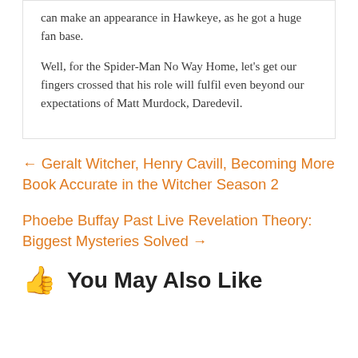can make an appearance in Hawkeye, as he got a huge fan base.
Well, for the Spider-Man No Way Home, let’s get our fingers crossed that his role will fulfil even beyond our expectations of Matt Murdock, Daredevil.
← Geralt Witcher, Henry Cavill, Becoming More Book Accurate in the Witcher Season 2
Phoebe Buffay Past Live Revelation Theory: Biggest Mysteries Solved →
You May Also Like